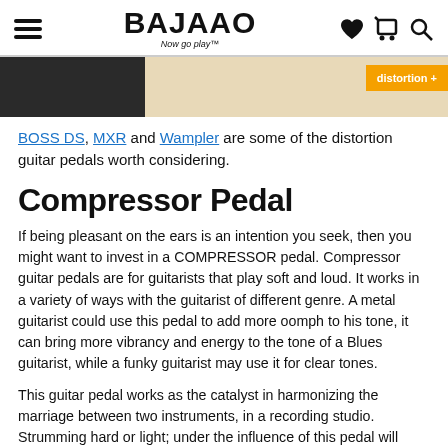BAJAAO — Now go play™
[Figure (photo): Partial product image strip showing a guitar pedal against a light background, with a dark panel on the left and an orange 'distortion +' button on the right]
BOSS DS, MXR and Wampler are some of the distortion guitar pedals worth considering.
Compressor Pedal
If being pleasant on the ears is an intention you seek, then you might want to invest in a COMPRESSOR pedal. Compressor guitar pedals are for guitarists that play soft and loud. It works in a variety of ways with the guitarist of different genre. A metal guitarist could use this pedal to add more oomph to his tone, it can bring more vibrancy and energy to the tone of a Blues guitarist, while a funky guitarist may use it for clear tones.
This guitar pedal works as the catalyst in harmonizing the marriage between two instruments, in a recording studio. Strumming hard or light; under the influence of this pedal will